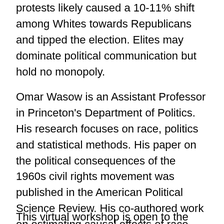protests likely caused a 10-11% shift among Whites towards Republicans and tipped the election. Elites may dominate political communication but hold no monopoly.
Omar Wasow is an Assistant Professor in Princeton's Department of Politics. His research focuses on race, politics and statistical methods. His paper on the political consequences of the 1960s civil rights movement was published in the American Political Science Review. His co-authored work on estimating causal effects of race was published in the Annual Review of Political Science. He received a PhD in African American studies, an MA in Government and an MA in Statistics from Harvard University.
This virtual workshop is open to the Yale community